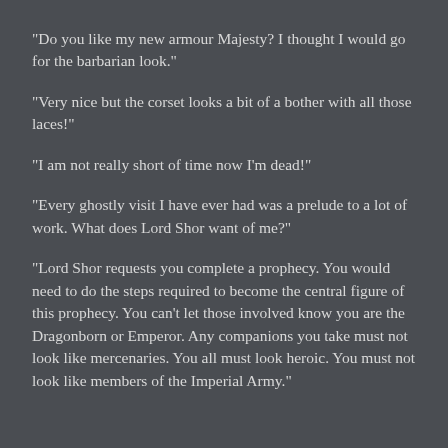"Do you like my new armour Majesty? I thought I would go for the barbarian look."
"Very nice but the corset looks a bit of a bother with all those laces!"
"I am not really short of time now I'm dead!"
"Every ghostly visit I have ever had was a prelude to a lot of work. What does Lord Shor want of me?"
"Lord Shor requests you complete a prophecy. You would need to do the steps required to become the central figure of this prophecy. You can't let those involved know you are the Dragonborn or Emperor. Any companions you take must not look like mercenaries. You all must look heroic. You must not look like members of the Imperial Army."